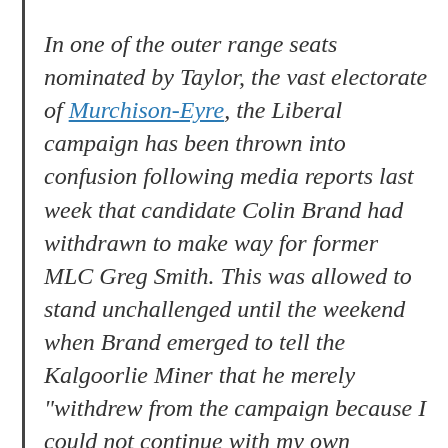In one of the outer range seats nominated by Taylor, the vast electorate of Murchison-Eyre, the Liberal campaign has been thrown into confusion following media reports last week that candidate Colin Brand had withdrawn to make way for former MLC Greg Smith. This was allowed to stand unchallenged until the weekend when Brand emerged to tell the Kalgoorlie Miner that he merely "withdrew from the campaign because I could not continue with my own resources". The report quoted Liberal Party state director Paul